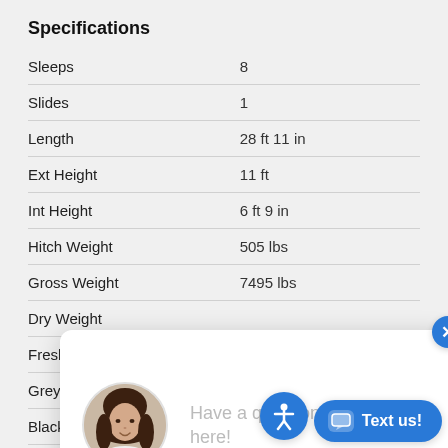Specifications
| Specification | Value |
| --- | --- |
| Sleeps | 8 |
| Slides | 1 |
| Length | 28 ft 11 in |
| Ext Height | 11 ft |
| Int Height | 6 ft 9 in |
| Hitch Weight | 505 lbs |
| Gross Weight | 7495 lbs |
| Dry Weight |  |
| Fresh Water |  |
| Grey Water C |  |
| Black Water |  |
| Furnace BTU | 30000 btu |
| Number Of Bunks | 2 |
| Available Beds | Queen |
[Figure (screenshot): Chat popup with female avatar and text: Have a question? Text us here!]